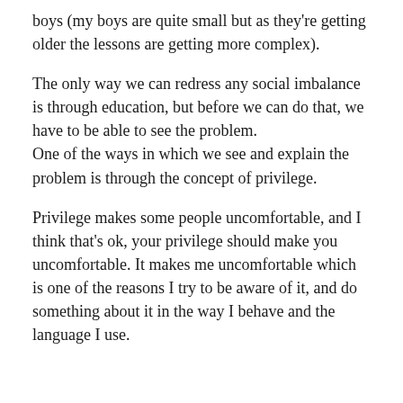boys (my boys are quite small but as they're getting older the lessons are getting more complex).
The only way we can redress any social imbalance is through education, but before we can do that, we have to be able to see the problem.
One of the ways in which we see and explain the problem is through the concept of privilege.
Privilege makes some people uncomfortable, and I think that's ok, your privilege should make you uncomfortable. It makes me uncomfortable which is one of the reasons I try to be aware of it, and do something about it in the way I behave and the language I use.